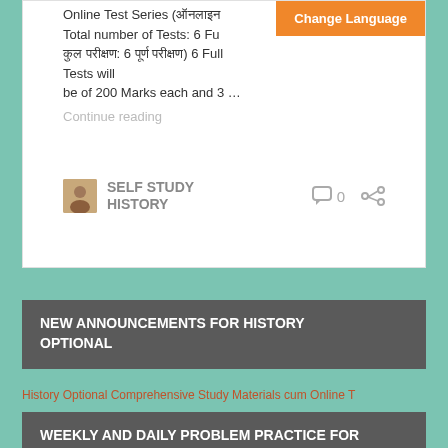Online Test Series (... Total number of Tests: 6 Fu... 6 Full Tests will be of 200 Marks each and 3 …
Continue reading
SELF STUDY HISTORY
0
NEW ANNOUNCEMENTS FOR HISTORY OPTIONAL
History Optional Comprehensive Study Materials cum Online T
WEEKLY AND DAILY PROBLEM PRACTICE FOR 2021 MAIN EXAMINATION